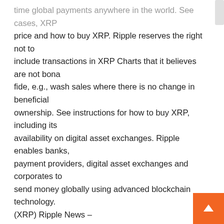time global payments anywhere in the world. See cases, XRP price and how to buy XRP. Ripple reserves the right not to include transactions in XRP Charts that it believes are not bona fide, e.g., wash sales where there is no change in beneficial ownership. See instructions for how to buy XRP, including its availability on digital asset exchanges. Ripple enables banks, payment providers, digital asset exchanges and corporates to send money globally using advanced blockchain technology. (XRP) Ripple News – BeInCryptohttps://beincrypto.com/ripple-newsUnbiased about Ripple (XRP). Stay in front of other altcoins and cryptocurrency with our (XRP) Ripple news section.Ripple (VŠE, CO Chcete Vědět) | Alza.czhttps://alza.cz/ripple-xrpZajímá vás, co je Ripple? V čem se tolik liší od bitcoinu a dalších kryptoměn? Jaký je aktuální kurz a cena ripplu? Dozvíte se v našem článku! [vc_row][vc_column][vc_single_image image="9071" img_size="large" alignment="center" el_class="page_featured_image"][vc_column_text] Ripple: A modernized infrastructure for global payments [/vc_column_text][vc_separator color="white"][